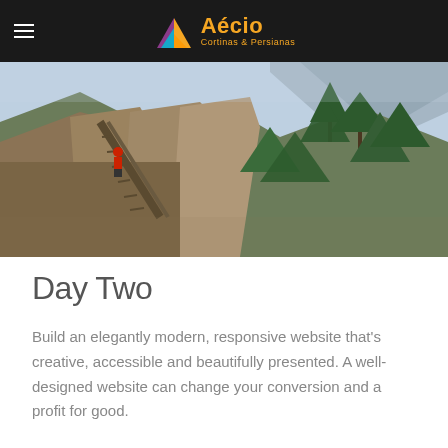Aécio Cortinas & Persianas
[Figure (photo): A person in a red jacket climbing steep stone stairs on a cliff face, with pine trees and misty mountain peaks in the background. Scenic mountain landscape, likely Huangshan (Yellow Mountain) in China.]
Day Two
Build an elegantly modern, responsive website that's creative, accessible and beautifully presented. A well-designed website can change your conversion and a profit for good.